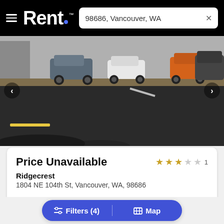Rent. | 98686, Vancouver, WA
[Figure (photo): Exterior parking lot photo showing asphalt parking area with cars parked in the background, yellow curb, and a yellow painted line on the ground. Navigation arrows on left and right sides.]
Price Unavailable
★★★☆☆ 1
Ridgecrest
1804 NE 104th St, Vancouver, WA, 98686
Details ✓
Filters (4) | Map